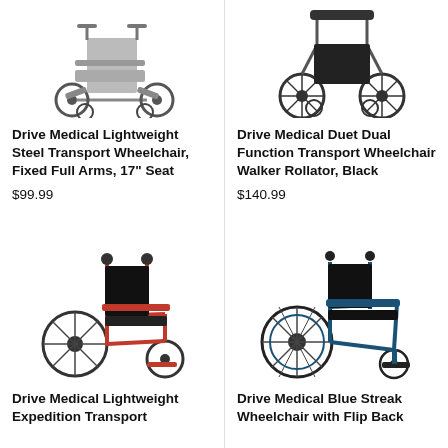[Figure (photo): Drive Medical Lightweight Steel Transport Wheelchair with fixed full arms, 17 inch seat, shown from side angle]
Drive Medical Lightweight Steel Transport Wheelchair, Fixed Full Arms, 17" Seat
$99.99
[Figure (photo): Drive Medical Duet Dual Function Transport Wheelchair Walker Rollator in Black, shown from front/side]
Drive Medical Duet Dual Function Transport Wheelchair Walker Rollator, Black
$140.99
[Figure (photo): Drive Medical Lightweight Expedition Transport wheelchair with red frame and black seat, shown from side angle]
Drive Medical Lightweight Expedition Transport
[Figure (photo): Drive Medical Blue Streak Wheelchair with Flip Back arms, blue frame, shown from side angle]
Drive Medical Blue Streak Wheelchair with Flip Back